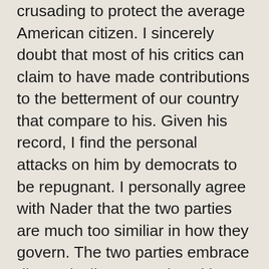crusading to protect the average American citizen. I sincerely doubt that most of his critics can claim to have made contributions to the betterment of our country that compare to his. Given his record, I find the personal attacks on him by democrats to be repugnant. I personally agree with Nader that the two parties are much too similiar in how they govern. The two parties embrace diametrically opposed positions on a few issues in order to differentiate themselves while agreeing on maintaining the status quo (i.e. whoring themselves to special interests) much too frequently. I still believe that the Democrats are slightly better than the Republicans, but it is only by a slim margin. I will probably